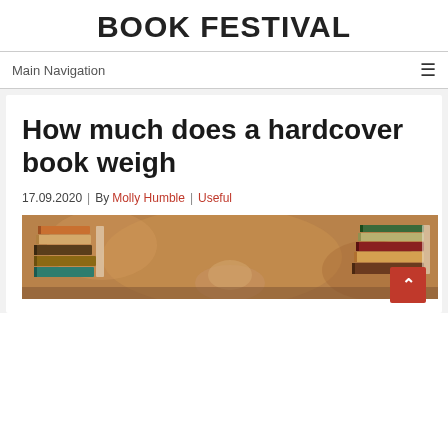BOOK FESTIVAL
Main Navigation
How much does a hardcover book weigh
17.09.2020  |  By Molly Humble  |  Useful
[Figure (photo): Stack of hardcover books photographed from the side, showing spines and pages, warm bokeh background]